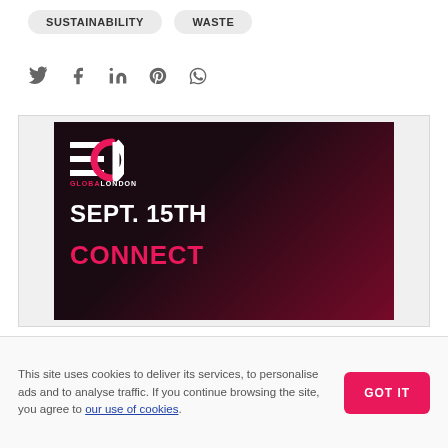SUSTAINABILITY
WASTE
[Figure (other): Social media share icons: Twitter, Facebook, LinkedIn, Pinterest, WhatsApp]
[Figure (illustration): ECD Global London promotional banner. Shows the ECD logo (three horizontal lines and a C/D letterform in white and red), text 'SEPT. 15TH' in white bold, 'CONNECT' in red bold, and a dark red-tinted background photo of a conference audience.]
This site uses cookies to deliver its services, to personalise ads and to analyse traffic. If you continue browsing the site, you agree to our use of cookies.